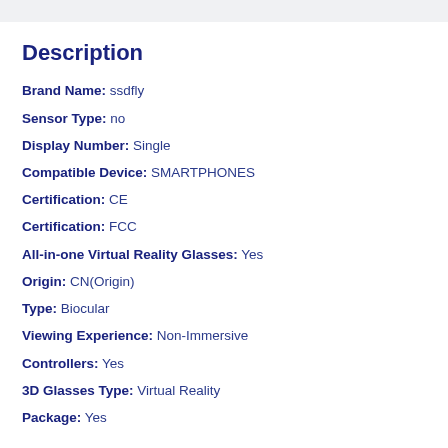Description
Brand Name: ssdfly
Sensor Type: no
Display Number: Single
Compatible Device: SMARTPHONES
Certification: CE
Certification: FCC
All-in-one Virtual Reality Glasses: Yes
Origin: CN(Origin)
Type: Biocular
Viewing Experience: Non-Immersive
Controllers: Yes
3D Glasses Type: Virtual Reality
Package: Yes